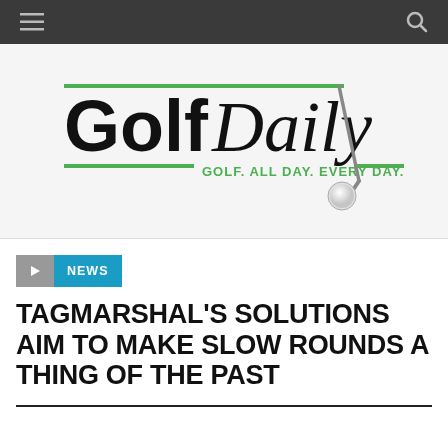Golf Daily — Navigation bar
[Figure (logo): Golf Daily logo with green horizontal lines, bold 'Golf' in black, italic 'Daily' in black, golf club and ball graphic, tagline 'GOLF. ALL DAY. EVERY DAY.' in green]
NEWS
TAGMARSHAL'S SOLUTIONS AIM TO MAKE SLOW ROUNDS A THING OF THE PAST